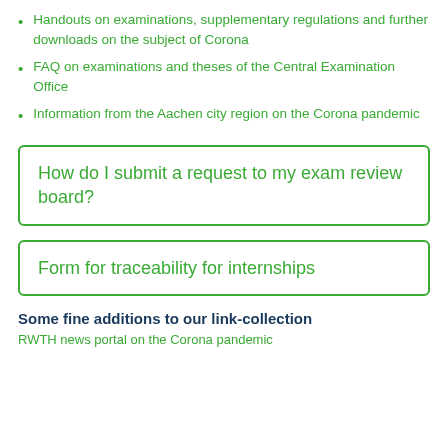Handouts on examinations, supplementary regulations and further downloads on the subject of Corona
FAQ on examinations and theses of the Central Examination Office
Information from the Aachen city region on the Corona pandemic
How do I submit a request to my exam review board?
Form for traceability for internships
Some fine additions to our link-collection
RWTH news portal on the Corona pandemic